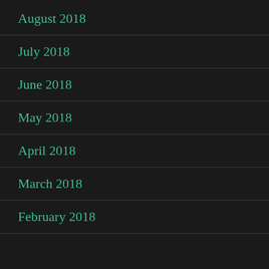August 2018
July 2018
June 2018
May 2018
April 2018
March 2018
February 2018